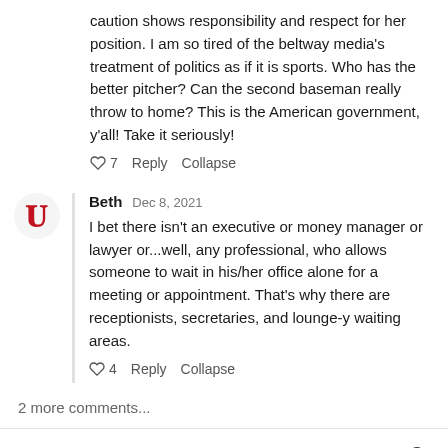caution shows responsibility and respect for her position. I am so tired of the beltway media's treatment of politics as if it is sports. Who has the better pitcher? Can the second baseman really throw to home? This is the American government, y'all! Take it seriously!
♡ 7   Reply   Collapse
Beth   Dec 8, 2021
I bet there isn't an executive or money manager or lawyer or...well, any professional, who allows someone to wait in his/her office alone for a meeting or appointment. That's why there are receptionists, secretaries, and lounge-y waiting areas.
♡ 4   Reply   Collapse
2 more comments...
Top   New   Community